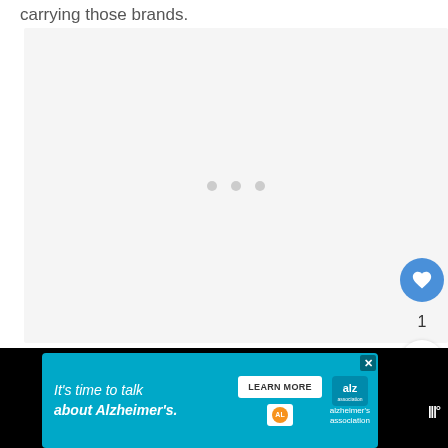carrying those brands.
[Figure (screenshot): Light gray content loading area with three gray dots indicating a loading spinner in the center]
[Figure (other): Blue circular heart/favorite button, share button, and count of 1]
[Figure (other): Sidebar card showing truncated text: WH... Ch... Fr...]
[Figure (other): Advertisement banner: It's time to talk about Alzheimer's. Learn More button with Alzheimer's Association logo]